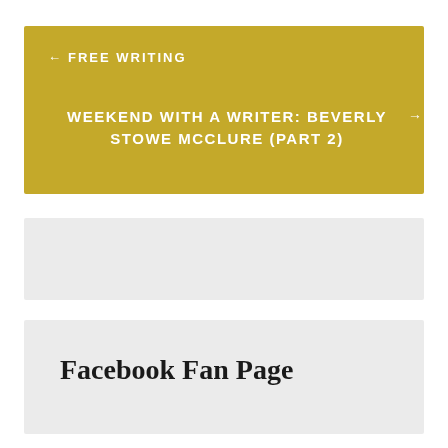← FREE WRITING
WEEKEND WITH A WRITER: BEVERLY STOWE MCCLURE (PART 2) →
[Figure (other): Follow Kimberly Blackadar WordPress follow button in blue]
Facebook Fan Page